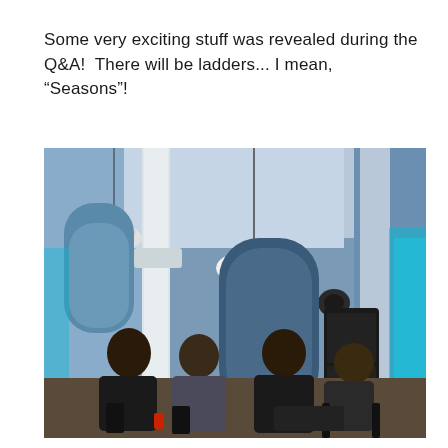Some very exciting stuff was revealed during the Q&A!  There will be ladders... I mean, “Seasons”!
[Figure (photo): Indoor venue photo showing a Q&A panel session. Several people seated in chairs on a stage area inside a large hall with tall white columns, arched windows, and pendant lights. The space is lit with blue/teal accent lighting. An audience member or panelist appears to be speaking. Speakers and equipment visible on the right side.]